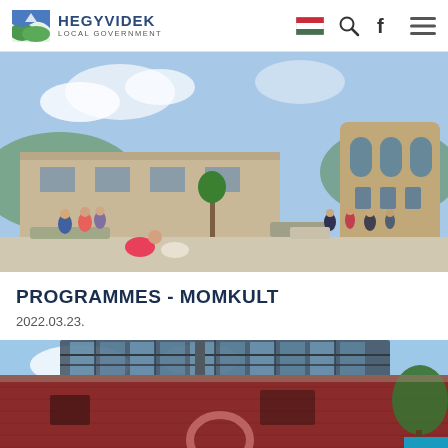HEGYVIDEK LOCAL GOVERNMENT
[Figure (photo): Outdoor photo of a public building (MOMKult cultural center) with people standing outside on a sunny day. The building has a distinctive cylindrical tower with arched windows on the right side.]
PROGRAMMES - MOMKULT
2022.03.23.
[Figure (photo): Photo of a red brick building (MOMKult) exterior with a modern industrial-style glass roof/canopy. Blue sky with trees visible in the background.]